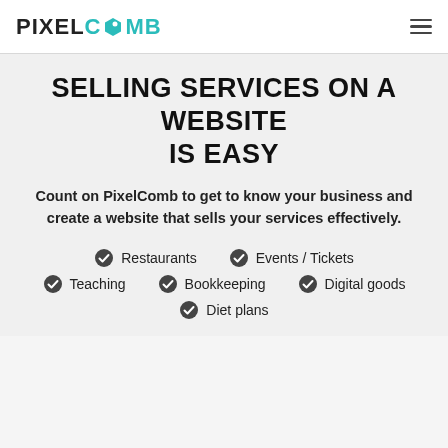PIXELCOMB
SELLING SERVICES ON A WEBSITE IS EASY
Count on PixelComb to get to know your business and create a website that sells your services effectively.
Restaurants
Events / Tickets
Teaching
Bookkeeping
Digital goods
Diet plans